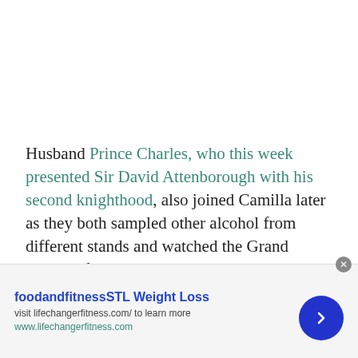Husband Prince Charles, who this week presented Sir David Attenborough with his second knighthood, also joined Camilla later as they both sampled other alcohol from different stands and watched the Grand Parade of Livestock.
Camilla Parker Bowles, who was dressed in a chic cream
[Figure (screenshot): Advertisement bar for foodandfitnessSTL Weight Loss showing website URL www.lifechangerfitness.com with a blue circular arrow button]